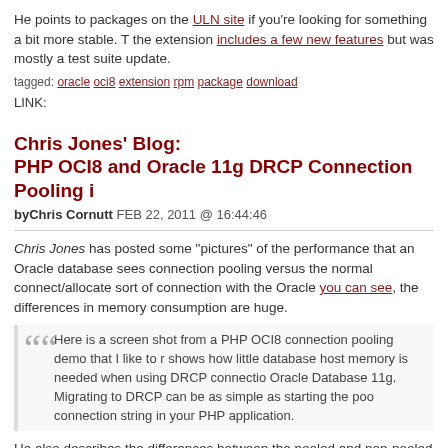He points to packages on the ULN site if you're looking for something a bit more stable. T the extension includes a few new features but was mostly a test suite update.
tagged: oracle oci8 extension rpm package download
LINK:
Chris Jones' Blog: PHP OCI8 and Oracle 11g DRCP Connection Pooling i
byChris Cornutt FEB 22, 2011 @ 16:44:46
Chris Jones has posted some "pictures" of the performance that an Oracle database sees connection pooling versus the normal connect/allocate sort of connection with the Oracle you can see, the differences in memory consumption are huge.
Here is a screen shot from a PHP OCI8 connection pooling demo that I like to r shows how little database host memory is needed when using DRCP connectio Oracle Database 11g. Migrating to DRCP can be as simple as starting the poo connection string in your PHP application.
He also describes the differences between the pooled and non-pooled connections (to the as putting ":pooled" in the connect string) in his graphs, and notes that using the pooling o for large site - smaller sites can benefit too.